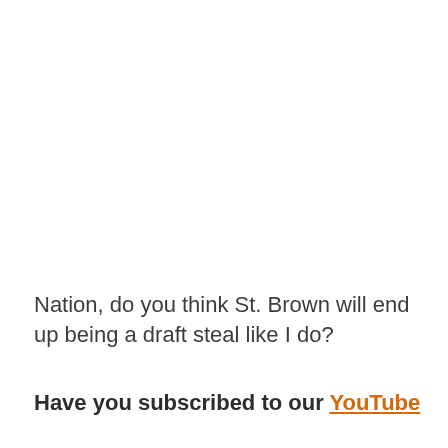Nation, do you think St. Brown will end up being a draft steal like I do?
Have you subscribed to our YouTube